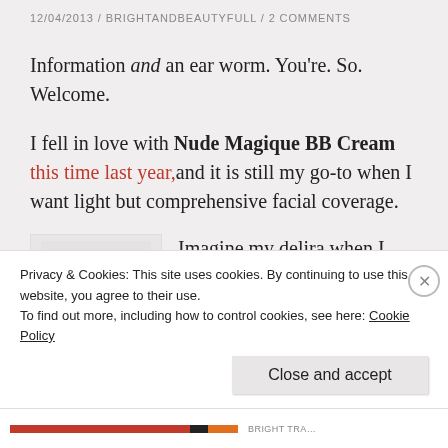12/04/2013 / BRIGHTANDBEAUTYFULL / 2 COMMENTS
Information and an ear worm. You’re. So. Welcome.
I fell in love with Nude Magique BB Cream this time last year,and it is still my go-to when I want light but comprehensive facial coverage.
[Figure (photo): Product image of a white cream container/jar on a light grey background]
Imagine my delira when I received this today! Despite my
Privacy & Cookies: This site uses cookies. By continuing to use this website, you agree to their use.
To find out more, including how to control cookies, see here: Cookie Policy
Close and accept